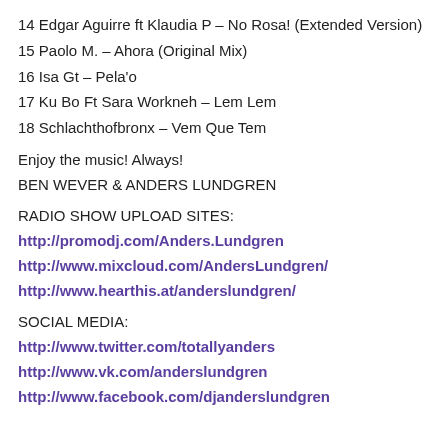14 Edgar Aguirre ft Klaudia P – No Rosa! (Extended Version)
15 Paolo M. – Ahora (Original Mix)
16 Isa Gt – Pela'o
17 Ku Bo Ft Sara Workneh – Lem Lem
18 Schlachthofbronx – Vem Que Tem
Enjoy the music! Always!
BEN WEVER & ANDERS LUNDGREN
RADIO SHOW UPLOAD SITES:
http://promodj.com/Anders.Lundgren
http://www.mixcloud.com/AndersLundgren/
http://www.hearthis.at/anderslundgren/
SOCIAL MEDIA:
http://www.twitter.com/totallyanders
http://www.vk.com/anderslundgren
http://www.facebook.com/djanderslundgren